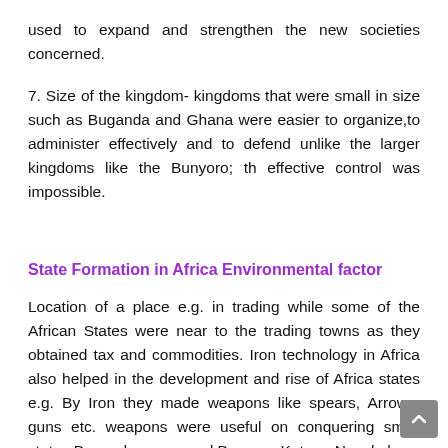used to expand and strengthen the new societies concerned.
7. Size of the kingdom- kingdoms that were small in size such as Buganda and Ghana were easier to organize,to administer effectively and to defend unlike the larger kingdoms like the Bunyoro; th effective control was impossible.
State Formation in Africa Environmental factor
Location of a place e.g. in trading while some of the African States were near to the trading towns as they obtained tax and commodities. Iron technology in Africa also helped in the development and rise of Africa states e.g. By Iron they made weapons like spears, Arrows, guns etc. weapons were useful on conquering small states Buganda conquered Bunyaro-Kutoro, Nyankole.